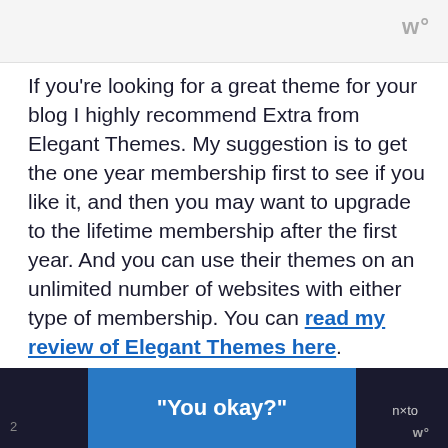If you’re looking for a great theme for your blog I highly recommend Extra from Elegant Themes. My suggestion is to get the one year membership first to see if you like it, and then you may want to upgrade to the lifetime membership after the first year. And you can use their themes on an unlimited number of websites with either type of membership. You can read my review of Elegant Themes here.
“You okay?”